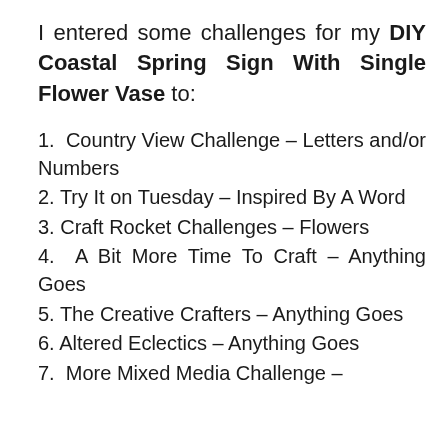I entered some challenges for my DIY Coastal Spring Sign With Single Flower Vase to:
1.  Country View Challenge – Letters and/or Numbers
2. Try It on Tuesday – Inspired By A Word
3. Craft Rocket Challenges – Flowers
4.  A Bit More Time To Craft – Anything Goes
5. The Creative Crafters – Anything Goes
6. Altered Eclectics – Anything Goes
7.  More Mixed Media Challenge –